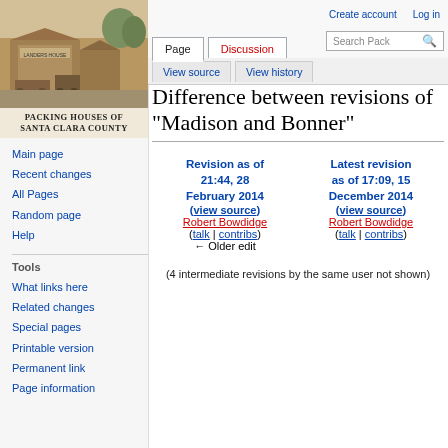Create account   Log in
Page  Discussion  View source  View history  Search Pack
[Figure (photo): Sepia-tone historical photograph of packing houses with horse-drawn wagons. Caption reads: PACKING HOUSES OF SANTA CLARA COUNTY]
Main page
Recent changes
All Pages
Random page
Help
Tools
What links here
Related changes
Special pages
Printable version
Permanent link
Page information
Difference between revisions of "Madison and Bonner"
| Revision as of 21:44, 28 February 2014 (view source) | Latest revision as of 17:09, 15 December 2014 (view source) |
| --- | --- |
| Robert Bowdidge ( talk | contribs ) ← Older edit | Robert Bowdidge ( talk | contribs ) |
(4 intermediate revisions by the same user not shown)